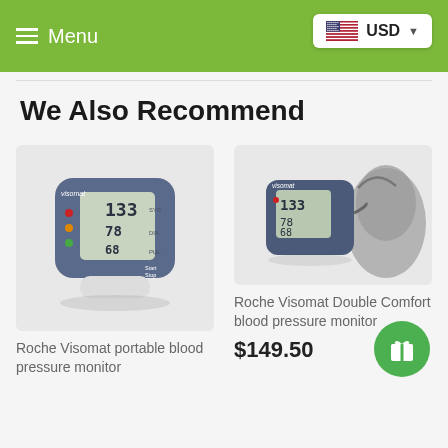Menu | USD
We Also Recommend
[Figure (photo): Roche Visomat portable wrist blood pressure monitor device showing digital display with SYS, DIA, PUL readings]
Roche Visomat portable blood pressure monitor
[Figure (photo): Roche Visomat Double Comfort blood pressure monitor with arm cuff]
Roche Visomat Double Comfort blood pressure monitor
$149.50